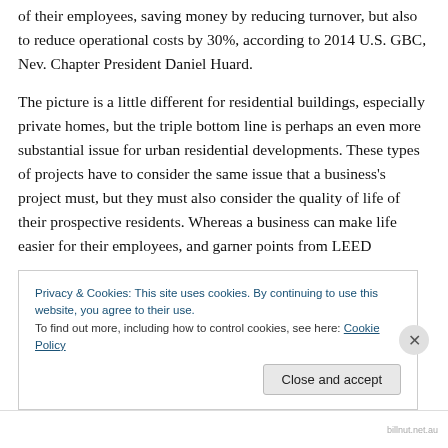of their employees, saving money by reducing turnover, but also to reduce operational costs by 30%, according to 2014 U.S. GBC, Nev. Chapter President Daniel Huard.
The picture is a little different for residential buildings, especially private homes, but the triple bottom line is perhaps an even more substantial issue for urban residential developments. These types of projects have to consider the same issue that a business's project must, but they must also consider the quality of life of their prospective residents. Whereas a business can make life easier for their employees, and garner points from LEED
Privacy & Cookies: This site uses cookies. By continuing to use this website, you agree to their use.
To find out more, including how to control cookies, see here: Cookie Policy
Close and accept